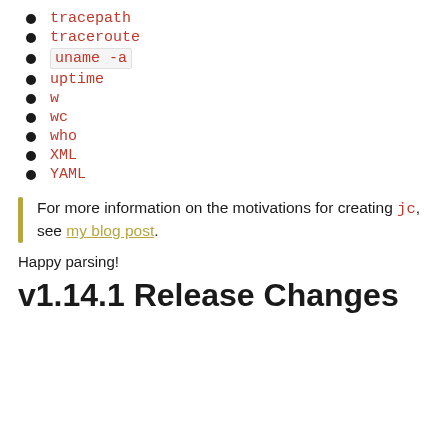tracepath
traceroute
uname -a
uptime
w
wc
who
XML
YAML
For more information on the motivations for creating jc, see my blog post.
Happy parsing!
v1.14.1 Release Changes